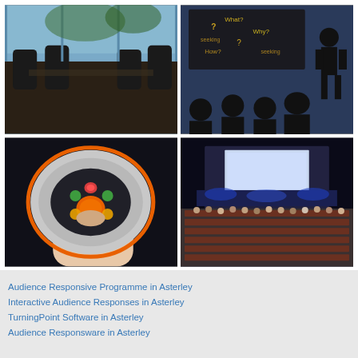[Figure (photo): Conference room with black leather chairs and a long dark table, blue-lit windows in background]
[Figure (photo): Silhouette illustration of a presenter standing before an audience with question word cloud on a dark blue background]
[Figure (photo): Hand pressing orange button on a grey oval audience response clicker device against dark background]
[Figure (photo): Large conference auditorium filled with attendees facing a bright stage screen with blue lighting]
Audience Responsive Programme in Asterley
Interactive Audience Responses in Asterley
TurningPoint Software in Asterley
Audience Responsware in Asterley